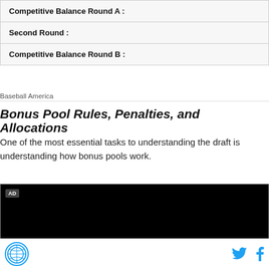| Competitive Balance Round A : |
| Second Round : |
| Competitive Balance Round B : |
Baseball America
Bonus Pool Rules, Penalties, and Allocations
One of the most essential tasks to understanding the draft is understanding how bonus pools work.
[Figure (other): Advertisement video player block with AD label, black background]
Footer with site logo and social media icons for Twitter and Facebook